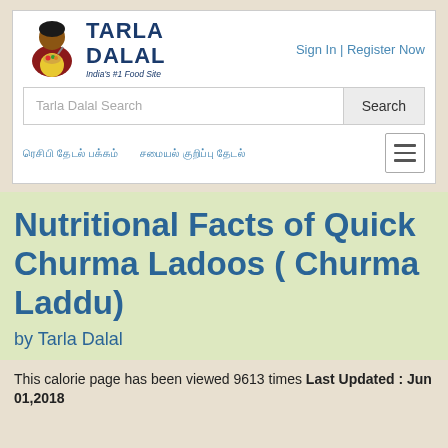[Figure (logo): Tarla Dalal logo with woman illustration and text 'TARLA DALAL India's #1 Food Site']
Sign In | Register Now
Tarla Dalal Search
Search
ரெசிபி தேடல் பக்கம்   சமையல் குறிப்பு தேடல்
Nutritional Facts of Quick Churma Ladoos ( Churma Laddu)
by Tarla Dalal
This calorie page has been viewed 9613 times Last Updated : Jun 01,2018